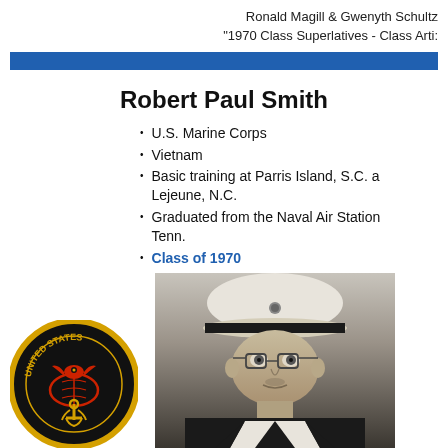Ronald Magill & Gwenyth Schultz
"1970 Class Superlatives - Class Arti:
Robert Paul Smith
U.S. Marine Corps
Vietnam
Basic training at Parris Island, S.C. a Lejeune, N.C.
Graduated from the Naval Air Station Tenn.
Class of 1970
[Figure (photo): U.S. Marine Corps seal logo (United States Marine Corps emblem with eagle, globe, and anchor on black background with yellow border)]
[Figure (photo): Black and white portrait photo of Robert Paul Smith in U.S. Marine Corps dress uniform with white cover hat and glasses]